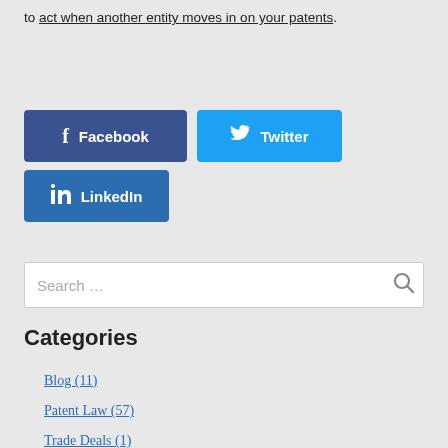to act when another entity moves in on your patents.
[Figure (infographic): Social media share buttons: Facebook (dark blue), Twitter (light blue), LinkedIn (medium blue)]
[Figure (infographic): Search box with placeholder text 'Search ...' and a search icon on the right]
Categories
Blog (11)
Patent Law (57)
Trade Deals (1)